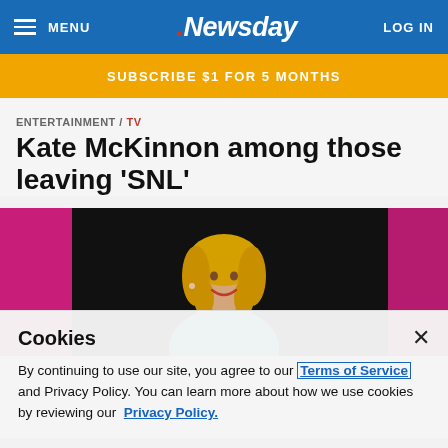MENU | Newsday | LOG IN
SUBSCRIBE $1 FOR 5 MONTHS
ENTERTAINMENT / TV
Kate McKinnon among those leaving 'SNL'
[Figure (photo): Photo of Kate McKinnon, a blonde woman smiling, in front of a dark background with pink and black signage]
Cookies
By continuing to use our site, you agree to our Terms of Service and Privacy Policy. You can learn more about how we use cookies by reviewing our Privacy Policy.